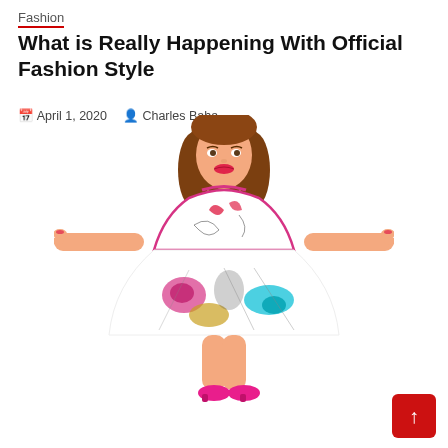Fashion
What is Really Happening With Official Fashion Style
April 1, 2020   Charles Baha
[Figure (illustration): Illustrated cartoon woman with brown hair wearing a white sleeveless dress with colorful paint-splatter pattern (pink, teal, yellow, black) and pink stripe at waist, arms outstretched, wearing hot pink heels.]